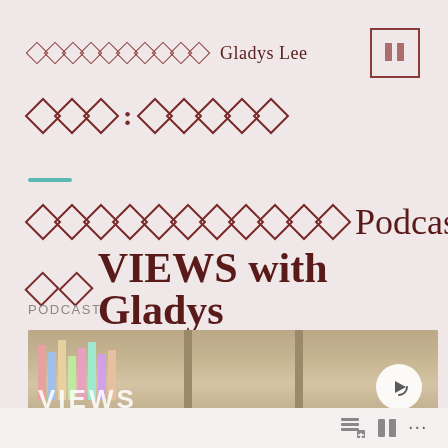Gladys Lee
Podcast VIEWS with Gladys
PODCAST
[Figure (photo): Bookshelf with vinyl records and books, used as decorative podcast cover image with VIEWS text overlay and a play button icon]